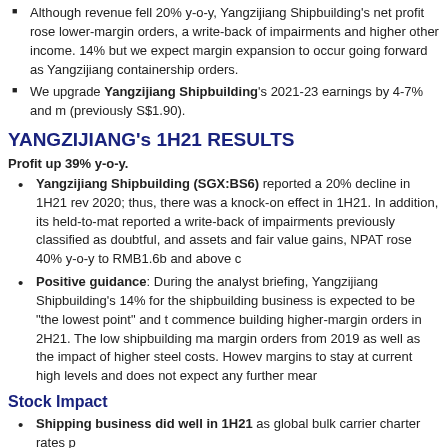Although revenue fell 20% y-o-y, Yangzijiang Shipbuilding's net profit rose lower-margin orders, a write-back of impairments and higher other income. 14% but we expect margin expansion to occur going forward as Yangzijiang containership orders.
We upgrade Yangzijiang Shipbuilding's 2021-23 earnings by 4-7% and m (previously S$1.90).
YANGZIJIANG's 1H21 RESULTS
Profit up 39% y-o-y.
Yangzijiang Shipbuilding (SGX:BS6) reported a 20% decline in 1H21 rev 2020; thus, there was a knock-on effect in 1H21. In addition, its held-to-mat reported a write-back of impairments previously classified as doubtful, and assets and fair value gains, NPAT rose 40% y-o-y to RMB1.6b and above c
Positive guidance: During the analyst briefing, Yangzijiang Shipbuilding's 14% for the shipbuilding business is expected to be "the lowest point" and t commence building higher-margin orders in 2H21. The low shipbuilding ma margin orders from 2019 as well as the impact of higher steel costs. Howev margins to stay at current high levels and does not expect any further mear
Stock Impact
Shipping business did well in 1H21 as global bulk carrier charter rates p